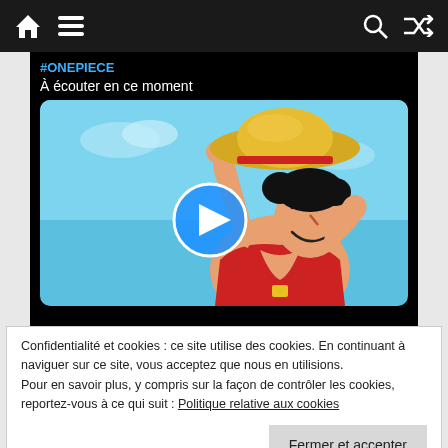Navigation bar with home, menu, search, and shuffle icons
#ONEPIECE
À écouter en ce moment
[Figure (screenshot): Anime character (Luffy from One Piece) with straw hat, red outfit, blue sky background, with a circular blue play button overlay in the center]
Confidentialité et cookies : ce site utilise des cookies. En continuant à naviguer sur ce site, vous acceptez que nous en utilisions. Pour en savoir plus, y compris sur la façon de contrôler les cookies, reportez-vous à ce qui suit : Politique relative aux cookies
Fermer et accepter